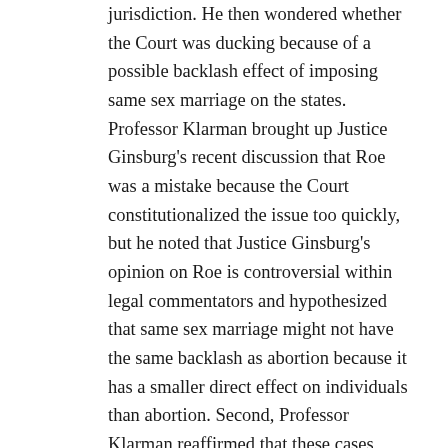jurisdiction. He then wondered whether the Court was ducking because of a possible backlash effect of imposing same sex marriage on the states. Professor Klarman brought up Justice Ginsburg's recent discussion that Roe was a mistake because the Court constitutionalized the issue too quickly, but he noted that Justice Ginsburg's opinion on Roe is controversial within legal commentators and hypothesized that same sex marriage might not have the same backlash as abortion because it has a smaller direct effect on individuals than abortion. Second, Professor Klarman reaffirmed that these cases were not a loss to the gay rights movement considering the state developments on the matter (HI, IL, OR are all close).  He ended by stating that gay marriage is inevitable in the United States.
Professor Fried then gave his thoughts on the marriage cases.  He began by stating that although he believed that Court decisions were moved by the